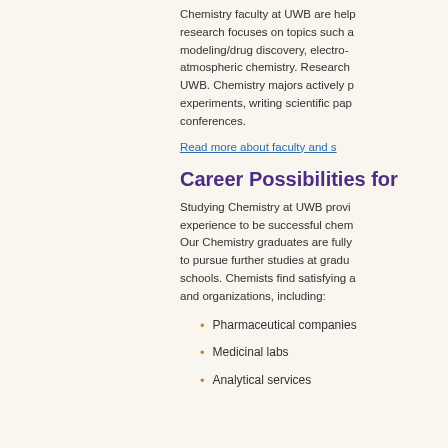Chemistry faculty at UWB are help research focuses on topics such a modeling/drug discovery, electro- atmospheric chemistry. Research UWB. Chemistry majors actively p experiments, writing scientific pap conferences.
Read more about faculty and s
Career Possibilities for
Studying Chemistry at UWB provi experience to be successful chem Our Chemistry graduates are fully to pursue further studies at gradu schools. Chemists find satisfying a and organizations, including:
Pharmaceutical companies
Medicinal labs
Analytical services